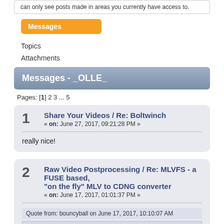can only see posts made in areas you currently have access to.
Messages
Topics
Attachments
Messages - _OLLE_
Pages: [1] 2 3 ... 5
1  Share Your Videos / Re: Boltwinch
« on: June 27, 2017, 09:21:28 PM »
really nice!
2  Raw Video Postprocessing / Re: MLVFS - a FUSE based, "on the fly" MLV to CDNG converter
« on: June 17, 2017, 01:01:37 PM »
Quote from: bouncyball on June 17, 2017, 10:10:07 AM
@_OLLE_